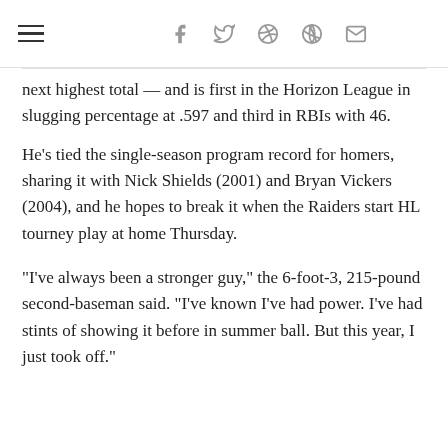≡  f  𝑦  𝑝  𝑟  ✉
next highest total — and is first in the Horizon League in slugging percentage at .597 and third in RBIs with 46.
He's tied the single-season program record for homers, sharing it with Nick Shields (2001) and Bryan Vickers (2004), and he hopes to break it when the Raiders start HL tourney play at home Thursday.
“I’ve always been a stronger guy,” the 6-foot-3, 215-pound second-baseman said. “I’ve known I’ve had power. I’ve had stints of showing it before in summer ball. But this year, I just took off.”